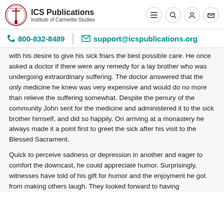ICS Publications — Institute of Carmelite Studies
800-832-8489   support@icspublications.org
with his desire to give his sick friars the best possible care. He once asked a doctor if there were any remedy for a lay brother who was undergoing extraordinary suffering. The doctor answered that the only medicine he knew was very expensive and would do no more than relieve the suffering somewhat. Despite the penury of the community John sent for the medicine and administered it to the sick brother himself, and did so happily. On arriving at a monastery he always made it a point first to greet the sick after his visit to the Blessed Sacrament.
Quick to perceive sadness or depression in another and eager to comfort the downcast, he could appreciate humor. Surprisingly, witnesses have told of his gift for humor and the enjoyment he got from making others laugh. They looked forward to having